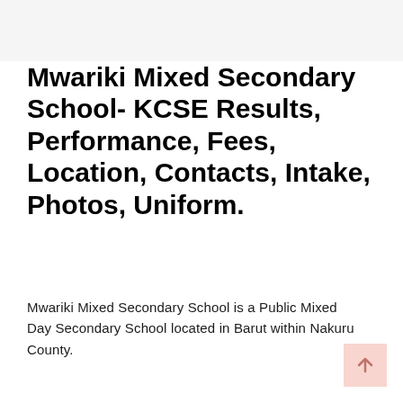Mwariki Mixed Secondary School- KCSE Results, Performance, Fees, Location, Contacts, Intake, Photos, Uniform.
Mwariki Mixed Secondary School is a Public Mixed Day Secondary School located in Barut within Nakuru County.